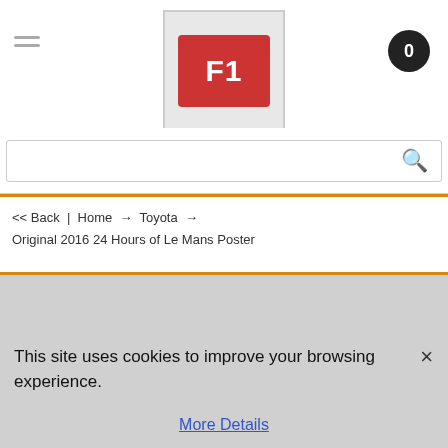[Figure (logo): F1 logo: red rounded rectangle with white bold text 'F1' inside a gray-bordered box]
<< Back | Home → Toyota → Original 2016 24 Hours of Le Mans Poster
This site uses cookies to improve your browsing experience.
More Details